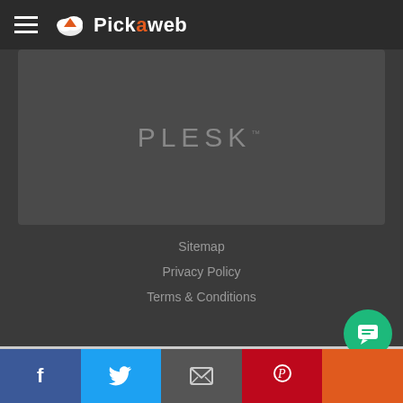Pickaweb
[Figure (screenshot): PLESK panel area shown inside dark rounded rectangle]
Sitemap
Privacy Policy
Terms & Conditions
This website uses cookies to ensure you get the best experience on our website. Learn more
Accept
[Figure (infographic): Social media share bar at bottom: Facebook, Twitter, Email, Pinterest, and orange section]